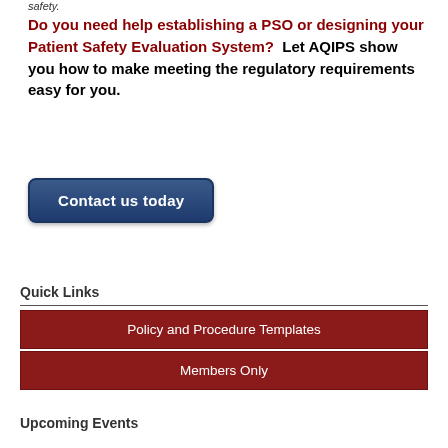safety.
Do you need help establishing a PSO or designing your Patient Safety Evaluation System?  Let AQIPS show you how to make meeting the regulatory requirements easy for you.
[Figure (other): Dark blue rounded button labeled 'Contact us today']
Quick Links
Policy and Procedure Templates
Members Only
Upcoming Events